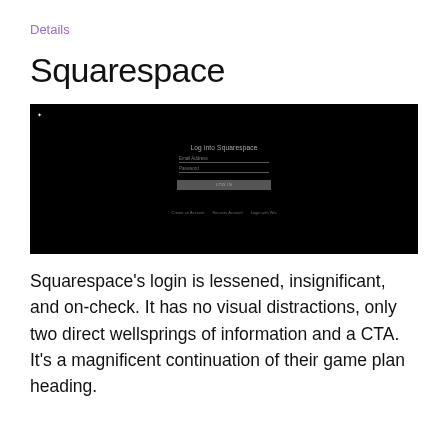Details
Squarespace
[Figure (screenshot): Squarespace login page on a black background showing 'Log into Squarespace' title, Email Address field, Password field, a LOG IN button, and links for Create an Account, Recover Account, Login with Wix.]
Squarespace's login is lessened, insignificant, and on-check. It has no visual distractions, only two direct wellsprings of information and a CTA. It's a magnificent continuation of their game plan heading.